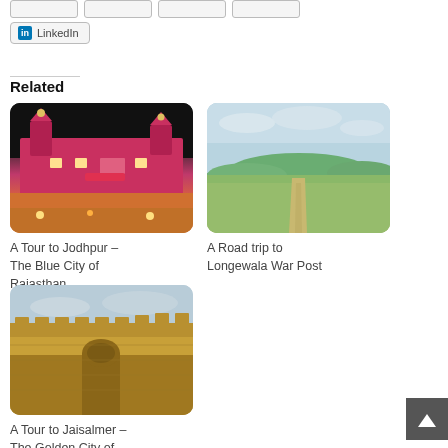[Figure (other): LinkedIn social share button]
Related
[Figure (photo): Nighttime photo of illuminated pink/red building in Jodhpur]
A Tour to Jodhpur – The Blue City of Rajasthan
[Figure (photo): Road through flat landscape with hills in background, daytime]
A Road trip to Longewala War Post
[Figure (photo): Golden stone fort walls against cloudy sky in Jaisalmer]
A Tour to Jaisalmer – The Golden City of Rajasthan